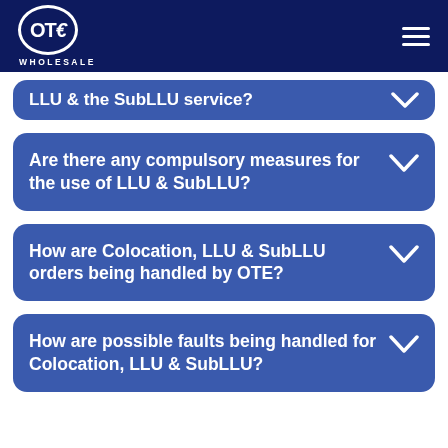OTE WHOLESALE
LLU & the SubLLU service?
Are there any compulsory measures for the use of LLU & SubLLU?
How are Colocation, LLU & SubLLU orders being handled by OTE?
How are possible faults being handled for Colocation, LLU & SubLLU?